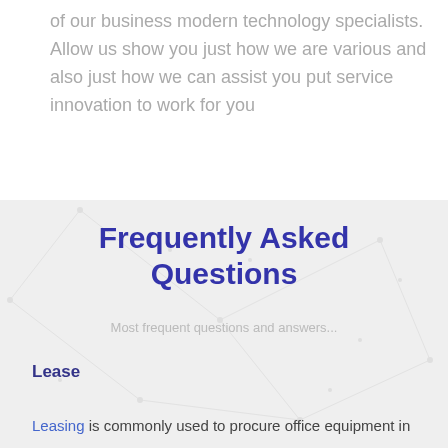of our business modern technology specialists. Allow us show you just how we are various and also just how we can assist you put service innovation to work for you
Frequently Asked Questions
Most frequent questions and answers...
Lease
Leasing is commonly used to procure office equipment in